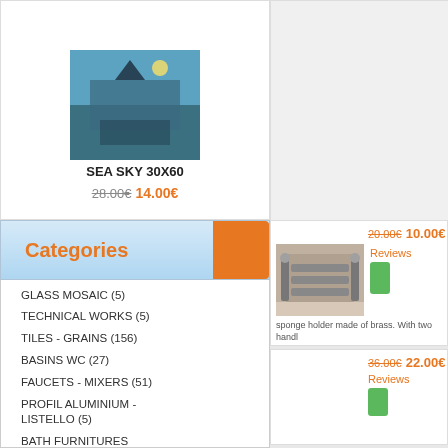[Figure (photo): Sea sky tile product image 30x60]
SEA SKY 30X60
28.00€ 14.00€
[Figure (photo): Gray/empty product card on right]
Categories
GLASS MOSAIC (5)
TECHNICAL WORKS (5)
TILES - GRAINS (156)
BASINS WC (27)
FAUCETS - MIXERS (51)
PROFIL ALUMINIUM - LISTELLO (5)
BATH FURNITURES MIRRORS (41)
BATHTUBS - HYDROMASSAGES (22)
BATH ACCESSORIES - PLUMPING FITT (29)
WCS SITTINGS (25)
SHOWER ROOMS CABINS (17)
[Figure (photo): Bathroom shelf/sponge holder made of brass product photo]
20.00€  10.00€
Reviews
sponge holder made of brass. With two handles bases for wall. Size : 30x13 cm
36.00€  22.00€
Reviews